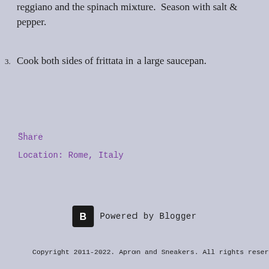reggiano and the spinach mixture. Season with salt & pepper.
3. Cook both sides of frittata in a large saucepan.
Share
Location: Rome, Italy
[Figure (logo): Powered by Blogger logo with black B icon]
Copyright 2011-2022. Apron and Sneakers. All rights reserved.